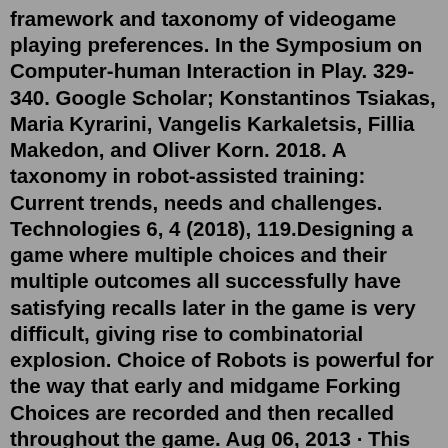framework and taxonomy of videogame playing preferences. In the Symposium on Computer-human Interaction in Play. 329-340. Google Scholar; Konstantinos Tsiakas, Maria Kyrarini, Vangelis Karkaletsis, Fillia Makedon, and Oliver Korn. 2018. A taxonomy in robot-assisted training: Current trends, needs and challenges. Technologies 6, 4 (2018), 119.Designing a game where multiple choices and their multiple outcomes all successfully have satisfying recalls later in the game is very difficult, giving rise to combinatorial explosion. Choice of Robots is powerful for the way that early and midgame Forking Choices are recorded and then recalled throughout the game. Aug 06, 2013 · This PowerPoint is one small part of the Taxonomy and Classification unit from www.sciencepowerpoint.com. A 3800+ slide Five Part PowerPoint presentation becomes the roadmap for an amazing and interactive science experience full of built-in lab activities, built-in quizzes, video links, class notes(red slides),review games, projects, unit notes, answer keys, and much